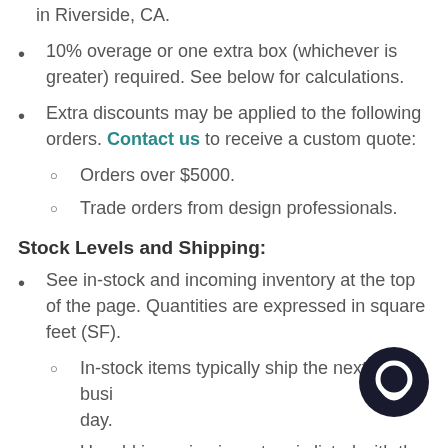in Riverside, CA.
10% overage or one extra box (whichever is greater) required.  See below for calculations.
Extra discounts may be applied to the following orders.  Contact us to receive a custom quote:
Orders over $5000.
Trade orders from design professionals.
Stock Levels and Shipping:
See in-stock and incoming inventory at the top of the page. Quantities are expressed in square feet (SF).
In-stock items typically ship the next business day.
Unsold incoming inventory is listed with the